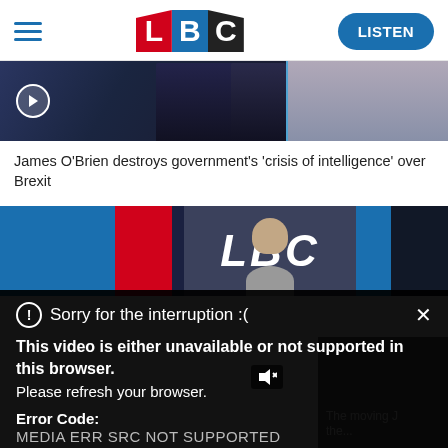[Figure (logo): LBC radio logo with L in red, B in blue, C in dark/black tile, plus hamburger menu and LISTEN button]
[Figure (screenshot): Video thumbnail showing two men in suits on dark blue background with play button]
James O'Brien destroys government's 'crisis of intelligence' over Brexit
[Figure (screenshot): Second video thumbnail with LBC branded background showing letters LBC in large format with a person's head visible]
Sorry for the interruption :(
This video is either unavailable or not supported in this browser.
Please refresh your browser.
Error Code:
MEDIA ERR SRC NOT SUPPORTED